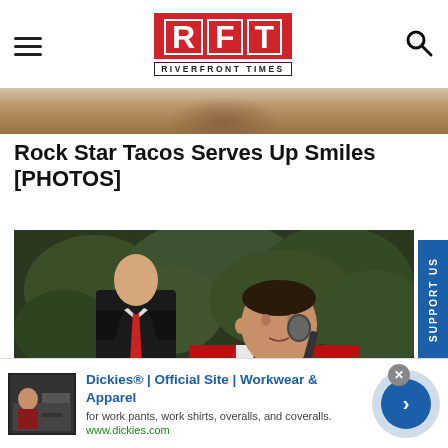RFT RIVERFRONT TIMES
[Figure (photo): Partial top image of food, cropped]
Rock Star Tacos Serves Up Smiles [PHOTOS]
[Figure (photo): Two men at a podium outdoors with green foliage background. One man wears a bright red blazer and speaks at a microphone, another stands behind in a dark suit with red tie.]
[Figure (other): Advertisement: Dickies Official Site Workwear and Apparel. Text: for work pants, work shirts, overalls, and coveralls. www.dickies.com]